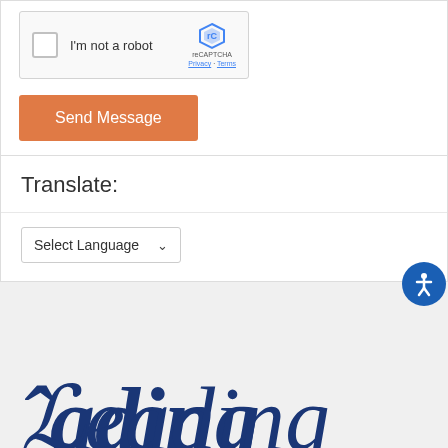[Figure (screenshot): reCAPTCHA widget with checkbox labeled 'I'm not a robot' and reCAPTCHA logo with Privacy and Terms links]
Send Message
Translate:
[Figure (screenshot): Select Language dropdown widget]
[Figure (screenshot): Blue circular accessibility icon button on right side]
[Figure (logo): Partially visible dark blue cursive/script logo text at bottom of page, showing 'Leading' or similar]